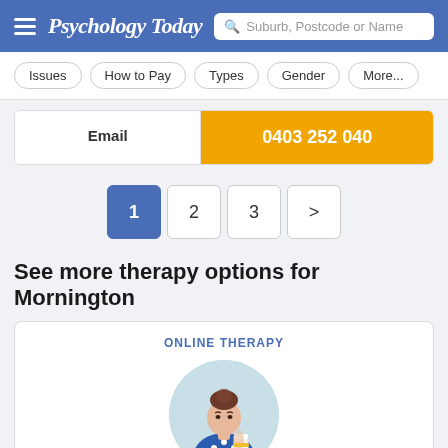Psychology Today — Suburb, Postcode or Name search
Issues
How to Pay
Types
Gender
More...
Email
0403 252 040
1  2  3  >
See more therapy options for Mornington
ONLINE THERAPY
[Figure (illustration): Illustration of a woman with a bun hairstyle wearing a blue patterned shirt, holding a cup, inside a circular light blue background]